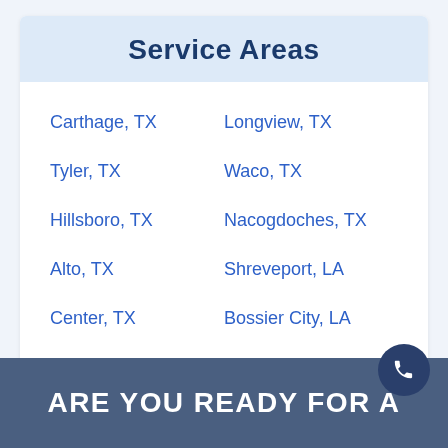Service Areas
Carthage, TX
Longview, TX
Tyler, TX
Waco, TX
Hillsboro, TX
Nacogdoches, TX
Alto, TX
Shreveport, LA
Center, TX
Bossier City, LA
ARE YOU READY FOR A